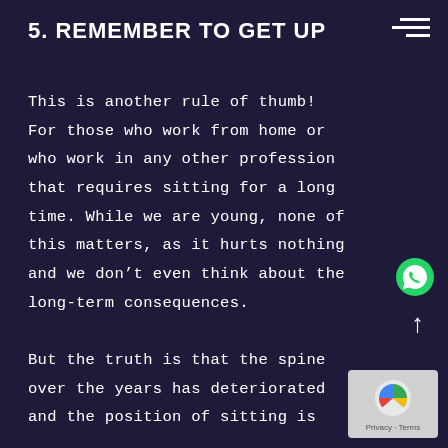5. REMEMBER TO GET UP
This is another rule of thumb! For those who work from home or who work in any other profession that requires sitting for a long time. While we are young, none of this matters, as it hurts nothing and we don't even think about the long-term consequences.

But the truth is that the spine over the years has deteriorated and the position of sitting is